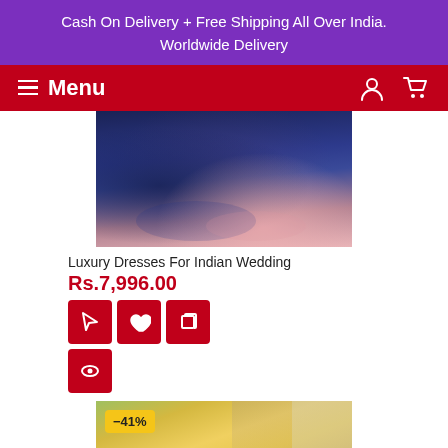Cash On Delivery + Free Shipping All Over India.
Worldwide Delivery
Menu
[Figure (photo): Indian fashion lehenga dress with blue embroidered skirt and pink dupatta on dark background]
Luxury Dresses For Indian Wedding
Rs.7,996.00
[Figure (photo): Woman in yellow embroidered Indian dress with -41% discount badge]
-41%